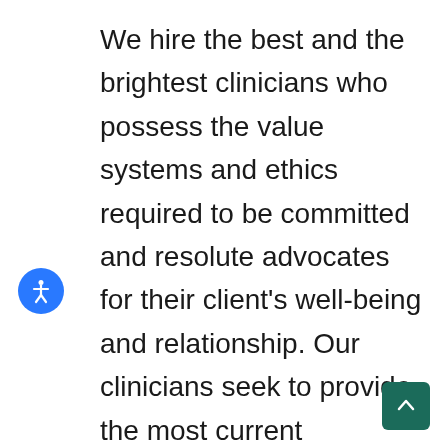We hire the best and the brightest clinicians who possess the value systems and ethics required to be committed and resolute advocates for their client's well-being and relationship. Our clinicians seek to provide the most current perspectives on what modern relationships need to thrive and excel in keeping up to date on trends and needs of non-traditional patterns of connection.